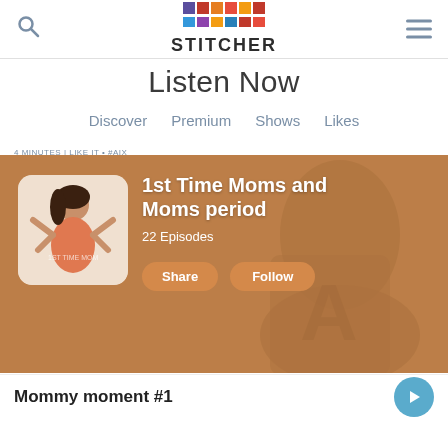Stitcher
Listen Now
Discover   Premium   Shows   Likes
[Figure (screenshot): Featured podcast banner showing '1st Time Moms and Moms period' with 22 Episodes, Share and Follow buttons, on a warm brown background with illustrated figure.]
Mommy moment #1